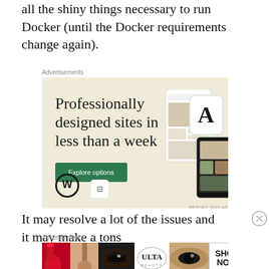all the shiny things necessary to run Docker (until the Docker requirements change again).
[Figure (other): Advertisement banner for WordPress.com: 'Professionally designed sites in less than a week' with an Explore options button, WordPress logo, and mock website screenshots on a beige background.]
It may resolve a lot of the issues and it may make a tons
[Figure (other): ULTA Beauty advertisement banner showing beauty product images including lipstick, makeup brushes, eyeshadow, and the ULTA logo, with a SHOP NOW button.]